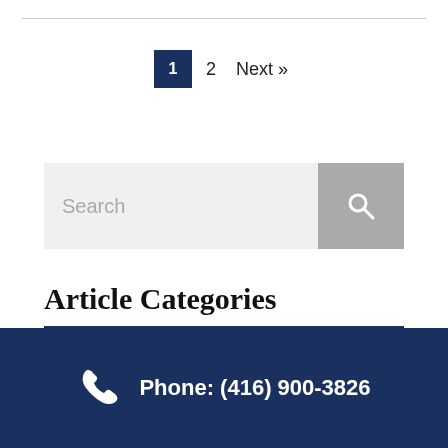1  2  Next »
[Figure (other): Search input bar with magnifying glass button]
Article Categories
[Figure (other): Hamburger menu icon (three horizontal bars)]
Phone: (416) 900-3826